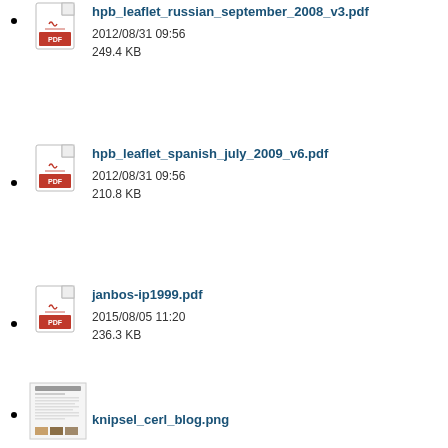hpb_leaflet_russian_september_2008_v3.pdf
2012/08/31 09:56
249.4 KB
hpb_leaflet_spanish_july_2009_v6.pdf
2012/08/31 09:56
210.8 KB
janbos-ip1999.pdf
2015/08/05 11:20
236.3 KB
knipsel_cerl_blog.png